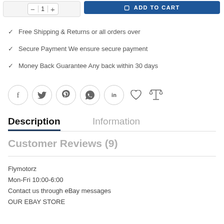[Figure (screenshot): Top bar with quantity selector and Add to Cart button]
Free Shipping & Returns or all orders over
Secure Payment We ensure secure payment
Money Back Guarantee Any back within 30 days
[Figure (infographic): Row of social media icons: Facebook, Twitter, Pinterest, WhatsApp, LinkedIn, Heart, Scale/Compare]
Description
Information
Customer Reviews (9)
Flymotorz
Mon-Fri 10:00-6:00
Contact us through eBay messages
OUR EBAY STORE